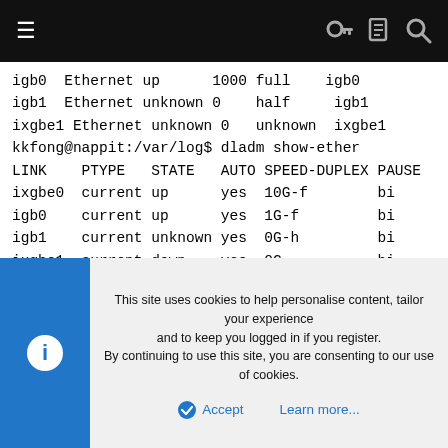Navigation bar with hamburger menu and icons
igb0 Ethernet up 1000 full igb0
igb1 Ethernet unknown 0 half igb1
ixgbe1 Ethernet unknown 0 unknown ixgbe1
kkfong@nappit:/var/log$ dladm show-ether
LINK PTYPE STATE AUTO SPEED-DUPLEX PAUSE
ixgbe0 current up yes 10G-f bi
igb0 current up yes 1G-f bi
igb1 current unknown yes 0G-h bi
ixgbe1 current down yes 0G bi
kkfong@nappit:/var/log$ dladm show-link
LINK CLASS MTU STATE BRIDGE OVER
ixgbe0 phys 9000 down -- --
igb0 phys 1500 up -- --
igb1 phys 1500 down
This site uses cookies to help personalise content, tailor your experience and to keep you logged in if you register.
By continuing to use this site, you are consenting to our use of cookies.
Accept   Learn more...